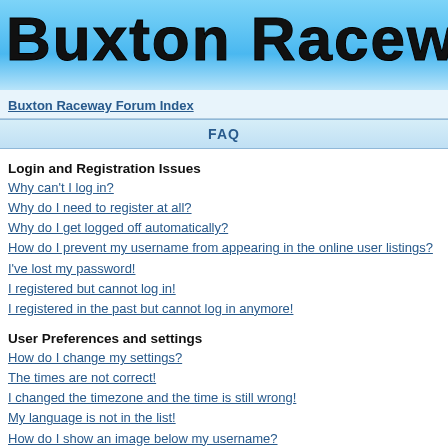Buxton Raceway Fo
Buxton Raceway Forum Index
FAQ
Login and Registration Issues
Why can't I log in?
Why do I need to register at all?
Why do I get logged off automatically?
How do I prevent my username from appearing in the online user listings?
I've lost my password!
I registered but cannot log in!
I registered in the past but cannot log in anymore!
User Preferences and settings
How do I change my settings?
The times are not correct!
I changed the timezone and the time is still wrong!
My language is not in the list!
How do I show an image below my username?
How do I change my rank?
When I click the email link for a user it asks me to log in.
Posting Issues
How do I post a topic in a forum?